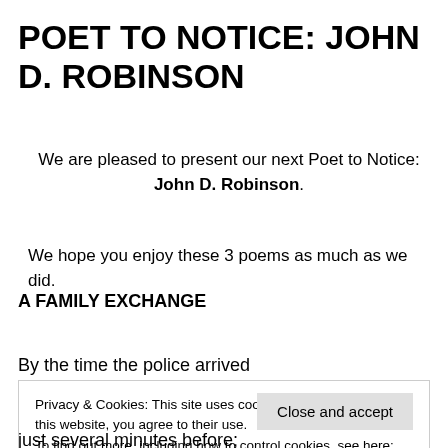POET TO NOTICE: JOHN D. ROBINSON
We are pleased to present our next Poet to Notice: John D. Robinson.
We hope you enjoy these 3 poems as much as we did.
A FAMILY EXCHANGE
By the time the police arrived
it was all over;
Privacy & Cookies: This site uses cookies. By continuing to use this website, you agree to their use. To find out more, including how to control cookies, see here: Cookie Policy
just several minutes before;